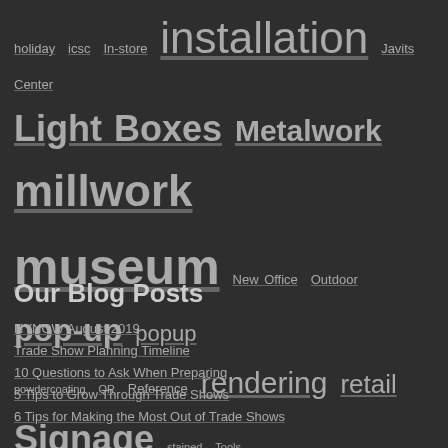holiday icsc In-store installation Javits Center Light Boxes Metalwork millwork museum New Office Outdoor pop-up popup powdercoating QR Reference rendering retail Signage stained Tools tradeshow tradeshow exhibit video woodwork
Our Blog Posts
NYNOW August 2019
Trade Show Planning Timeline
10 Questions to Ask When Preparing
5 Tips to Grow Through Trade Shows
6 Tips for Making the Most Out of Trade Shows